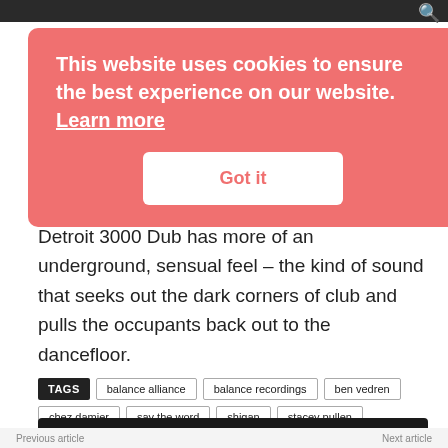[Figure (screenshot): Cookie consent banner overlay on a website. Red/salmon background with white text reading 'This website uses cookies to ensure the best experience on our website. Learn more' and a white 'Got it' button.]
Detroit 3000 Dub has more of an underground, sensual feel – the kind of sound that seeks out the dark corners of club and pulls the occupants back out to the dancefloor.
TAGS  balance alliance  balance recordings  ben vedren  chez damier  say the word  shigan  stacey pullen
Log In / Sign Up
Previous article   Next article